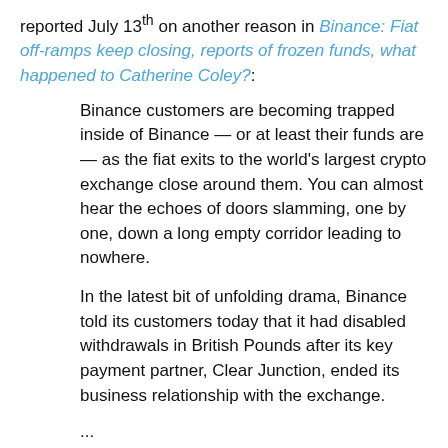reported July 13th on another reason in Binance: Fiat off-ramps keep closing, reports of frozen funds, what happened to Catherine Coley?:
Binance customers are becoming trapped inside of Binance — or at least their funds are — as the fiat exits to the world's largest crypto exchange close around them. You can almost hear the echoes of doors slamming, one by one, down a long empty corridor leading to nowhere.
In the latest bit of unfolding drama, Binance told its customers today that it had disabled withdrawals in British Pounds after its key payment partner, Clear Junction, ended its business relationship with the exchange.
...
There's a lot of unhappy people on r/BinanceUS right now complaining their withdrawals are frozen or suspended — and they can't seem to get a response from customer support either.
...